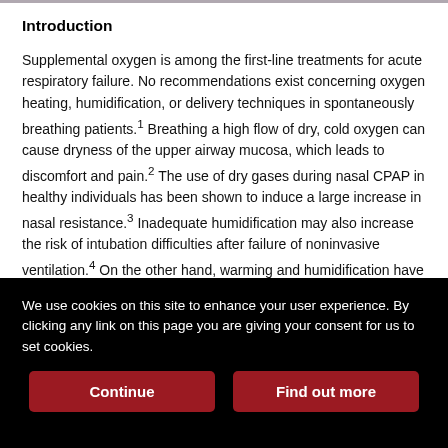Introduction
Supplemental oxygen is among the first-line treatments for acute respiratory failure. No recommendations exist concerning oxygen heating, humidification, or delivery techniques in spontaneously breathing patients.1 Breathing a high flow of dry, cold oxygen can cause dryness of the upper airway mucosa, which leads to discomfort and pain.2 The use of dry gases during nasal CPAP in healthy individuals has been shown to induce a large increase in nasal resistance.3 Inadequate humidification may also increase the risk of intubation difficulties after failure of noninvasive ventilation.4 On the other hand, warming and humidification have been shown to
We use cookies on this site to enhance your user experience. By clicking any link on this page you are giving your consent for us to set cookies.